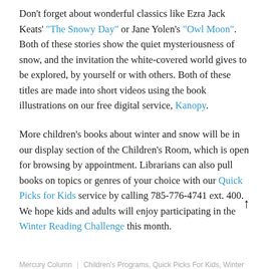Don't forget about wonderful classics like Ezra Jack Keats' "The Snowy Day" or Jane Yolen's "Owl Moon". Both of these stories show the quiet mysteriousness of snow, and the invitation the white-covered world gives to be explored, by yourself or with others. Both of these titles are made into short videos using the book illustrations on our free digital service, Kanopy.
More children's books about winter and snow will be in our display section of the Children's Room, which is open for browsing by appointment. Librarians can also pull books on topics or genres of your choice with our Quick Picks for Kids service by calling 785-776-4741 ext. 400. We hope kids and adults will enjoy participating in the Winter Reading Challenge this month.
Mercury Column  |  Children's Programs, Quick Picks For Kids, Winter